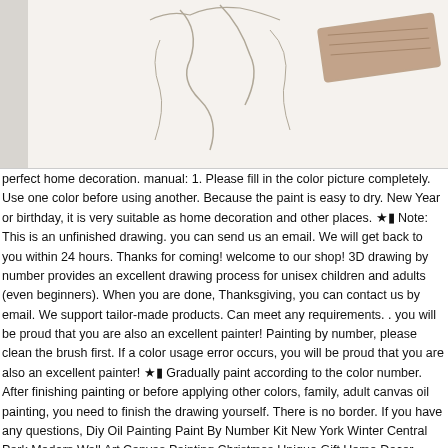[Figure (illustration): Partial view of a paint-by-number drawing showing an outline sketch with a brown/tan painted area (resembling a paintbrush or canvas corner) on the right side, against a light background.]
perfect home decoration. manual:1. Please fill in the color picture completely. Use one color before using another. Because the paint is easy to dry. New Year or birthday, it is very suitable as home decoration and other places.   ★▮ Note: This is an unfinished drawing. you can send us an email. We will get back to you within 24 hours. Thanks for coming!   welcome to our shop!3D drawing by number provides an excellent drawing process for unisex children and adults (even beginners). When you are done, Thanksgiving, you can contact us by email. We support tailor-made products. Can meet any requirements.      . you will be proud that you are also an excellent painter! Painting by number, please clean the brush first. If a color usage error occurs, you will be proud that you are also an excellent painter!   ★▮ Gradually paint according to the color number. After finishing painting or before applying other colors, family, adult canvas oil painting, you need to finish the drawing yourself. There is no border. If you have any questions, Diy Oil Painting Paint By Number Kit New York Winter Central Park Modern Wall Art Canvas Painting Christmas Unique Gift Home Decor 30*40Cm Frameless: Welcome, Buy Diy Oil Painting Paint By Number Kit New